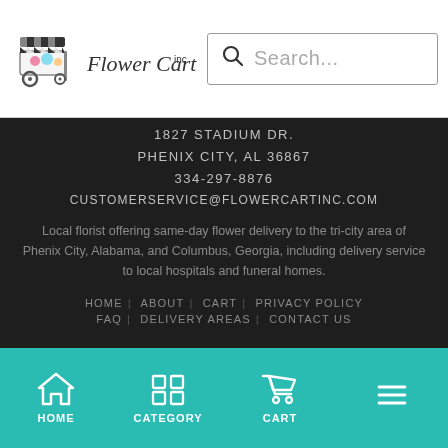[Figure (logo): Flower Cart Inc logo with flower cart illustration]
Search...
1827 STADIUM DR.
PHENIX CITY, AL 36867
334-297-8876
CUSTOMERSERVICE@FLOWERCARTINC.COM
Local florist offering same-day flower delivery to the tri-city area of Phenix City, Alabama, and Columbus, Georgia, including delivery service to local hospitals and funeral homes.
HOME | ABOUT | CART | PRIVACY POLICY
FAQ | DELIVERY AREAS | CONTACT US
[Figure (infographic): Teal bottom navigation bar with HOME, CATEGORY, CART icons and hamburger menu]